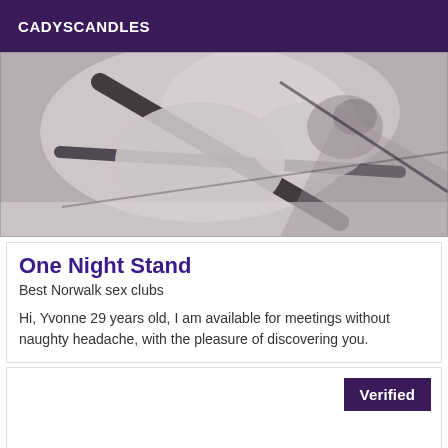CADYSCANDLES
[Figure (photo): Black and white photo showing a person's body, partially undressed, with a visible tattoo on one leg.]
One Night Stand
Best Norwalk sex clubs
Hi, Yvonne 29 years old, I am available for meetings without naughty headache, with the pleasure of discovering you.
Verified